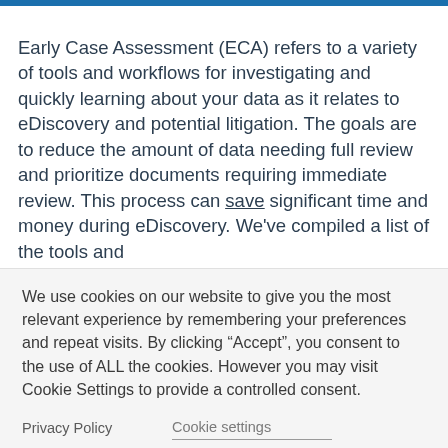Early Case Assessment (ECA) refers to a variety of tools and workflows for investigating and quickly learning about your data as it relates to eDiscovery and potential litigation. The goals are to reduce the amount of data needing full review and prioritize documents requiring immediate review. This process can save significant time and money during eDiscovery. We've compiled a list of the tools and
We use cookies on our website to give you the most relevant experience by remembering your preferences and repeat visits. By clicking “Accept”, you consent to the use of ALL the cookies. However you may visit Cookie Settings to provide a controlled consent.
Privacy Policy
Cookie settings
ACCEPT